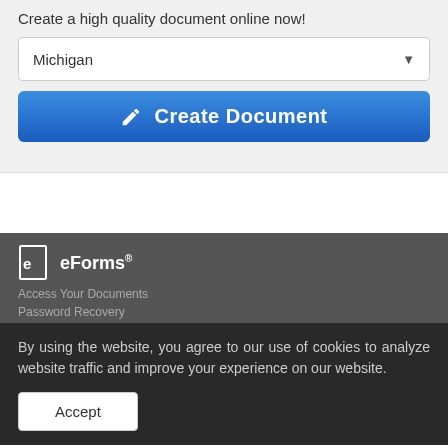Create a high quality document online now!
Michigan
Create Document
[Figure (logo): eForms logo with document icon]
Access Your Documents
Password Recovery
By using the website, you agree to our use of cookies to analyze website traffic and improve your experience on our website.
Accept